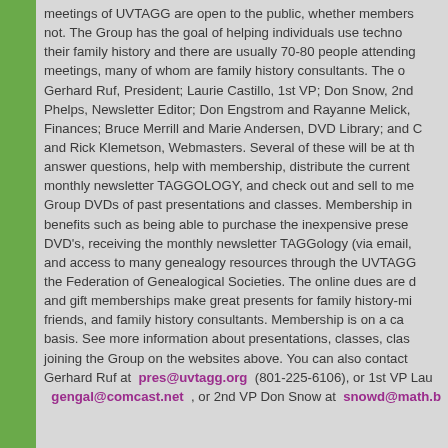meetings of UVTAGG are open to the public, whether members not. The Group has the goal of helping individuals use techno their family history and there are usually 70-80 people attending meetings, many of whom are family history consultants. The o Gerhard Ruf, President; Laurie Castillo, 1st VP; Don Snow, 2nd Phelps, Newsletter Editor; Don Engstrom and Rayanne Melick, Finances; Bruce Merrill and Marie Andersen, DVD Library; and and Rick Klemetson, Webmasters. Several of these will be at th answer questions, help with membership, distribute the current monthly newsletter TAGGOLOGY, and check out and sell to me Group DVDs of past presentations and classes. Membership i benefits such as being able to purchase the inexpensive prese DVD's, receiving the monthly newsletter TAGGology (via email, and access to many genealogy resources through the UVTAGG the Federation of Genealogical Societies. The online dues are and gift memberships make great presents for family history-m friends, and family history consultants. Membership is on a ca basis. See more information about presentations, classes, clas joining the Group on the websites above. You can also contact Gerhard Ruf at pres@uvtagg.org (801-225-6106), or 1st VP Lau gengal@comcast.net , or 2nd VP Don Snow at snowd@math.b